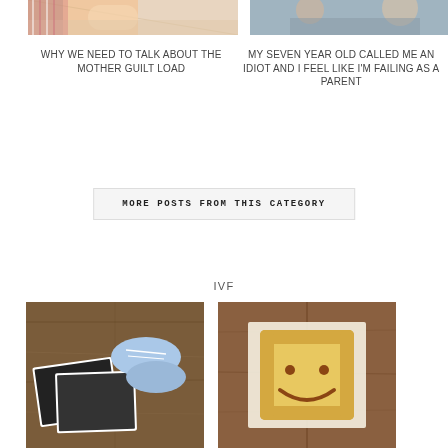[Figure (photo): Top-left photo: partial view of baby/child with striped fabric on light background]
[Figure (photo): Top-right photo: partial view of child's face with adult hands, blurred]
WHY WE NEED TO TALK ABOUT THE MOTHER GUILT LOAD
MY SEVEN YEAR OLD CALLED ME AN IDIOT AND I FEEL LIKE I'M FAILING AS A PARENT
MORE POSTS FROM THIS CATEGORY
IVF
[Figure (photo): Bottom-left photo: ultrasound photos and blue baby sneakers on wooden surface]
[Figure (photo): Bottom-right photo: toast bread with smiley face drawn in chocolate/sauce on wooden surface]